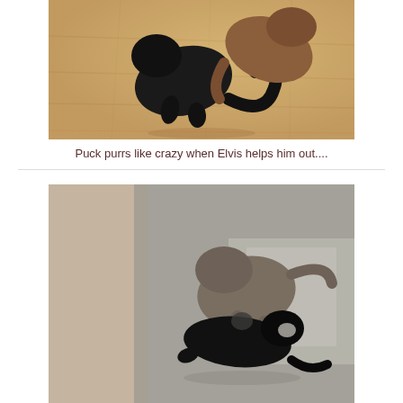[Figure (photo): Two cats on a hardwood floor — a black cat and a brown/ginger cat grooming or interacting with each other]
Puck purrs like crazy when Elvis helps him out....
[Figure (photo): Two cats on a grey carpet — a grey/brown cat on top appearing to groom or bite a black cat below, viewed from around a corner or door frame]
...Sometimes his good foot rabbit kicks....